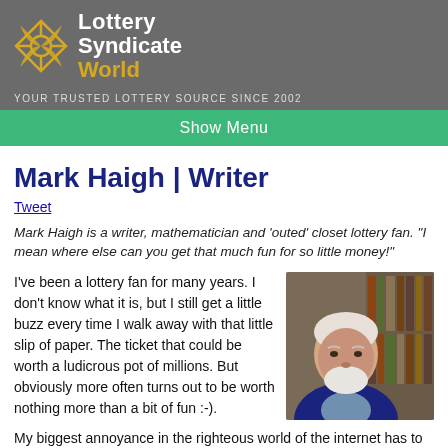Lottery Syndicate World — YOUR TRUSTED LOTTERY SOURCE SINCE 2002
Show Menu
Mark Haigh | Writer
Tweet
Mark Haigh is a writer, mathematician and 'outed' closet lottery fan. "I mean where else can you get that much fun for so little money!"
I've been a lottery fan for many years. I don't know what it is, but I still get a little buzz every time I walk away with that little slip of paper. The ticket that could be worth a ludicrous pot of millions. But obviously more often turns out to be worth nothing more than a bit of fun :-).
[Figure (photo): Portrait photo of Mark Haigh, an older man with a white beard wearing a dark blazer, seated in front of bookshelves]
My biggest annoyance in the righteous world of the internet has to be the 'bash the lottery players bore'. You know the ones. The "winning